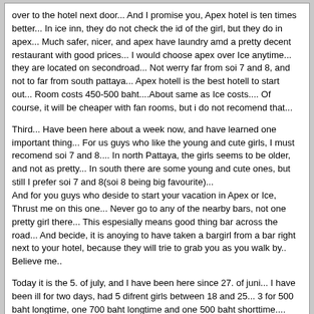over to the hotel next door... And I promise you, Apex hotel is ten times better... In ice inn, they do not check the id of the girl, but they do in apex... Much safer, nicer, and apex have laundry amd a pretty decent restaurant with good prices... I would choose apex over Ice anytime... they are located on secondroad... Not werry far from soi 7 and 8, and not to far from south pattaya... Apex hotell is the best hotell to start out... Room costs 450-500 baht....About same as Ice costs.... Of course, it will be cheaper with fan rooms, but i do not recomend that...
Third... Have been here about a week now, and have learned one important thing... For us guys who like the young and cute girls, I must recomend soi 7 and 8.... In north Pattaya, the girls seems to be older, and not as pretty... In south there are some young and cute ones, but still I prefer soi 7 and 8(soi 8 being big favourite)...
And for you guys who deside to start your vacation in Apex or Ice, Thrust me on this one... Never go to any of the nearby bars, not one pretty girl there... This espesially means good thing bar across the road... And becide, it is anoying to have taken a bargirl from a bar right next to your hotel, because they will trie to grab you as you walk by.. Believe me..
Today it is the 5. of july, and I have been here since 27. of juni... I have been ill for two days, had 5 difrent girls between 18 and 25... 3 for 500 baht longtime, one 700 baht longtime and one 500 baht shorttime....
Tonight I am going to Tonys to see if i can not find a real beauty... I bet I can... But if not, I just drink some more, and I be sure to find one:)
Before I go, just one last thing..... To all of you back home in your respective countries, you have fun tonight(because I sure as hell are going to...mobmob)
Until next time...
Cooljool
CoolJool
07-05-02, 15:26
Helloooo....